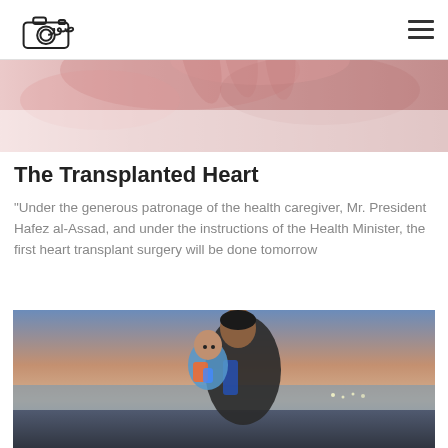صور (logo) | navigation hamburger menu
[Figure (photo): Header hero image showing blurred pink/red toned hands or figures in soft focus]
The Transplanted Heart
“Under the generous patronage of the health caregiver, Mr. President Hafez al-Assad, and under the instructions of the Health Minister, the first heart transplant surgery will be done tomorrow
[Figure (photo): A man holding a baby/infant, standing outdoors near water at dusk or dawn with a colorful sky in the background. The man wears a dark jacket and blue vest; the baby wears a colorful outfit.]